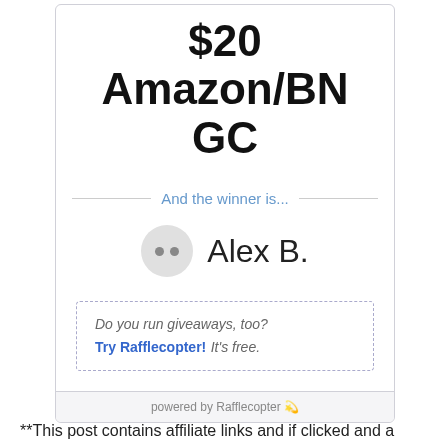$20 Amazon/BN GC
And the winner is...
Alex B.
Do you run giveaways, too? Try Rafflecopter! It's free.
powered by Rafflecopter
**This post contains affiliate links and if clicked and a